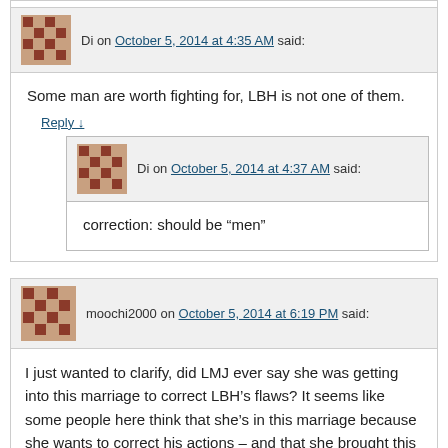Di on October 5, 2014 at 4:35 AM said:
Some man are worth fighting for, LBH is not one of them.
Reply ↓
Di on October 5, 2014 at 4:37 AM said:
correction: should be “men”
moochi2000 on October 5, 2014 at 6:19 PM said:
I just wanted to clarify, did LMJ ever say she was getting into this marriage to correct LBH’s flaws? It seems like some people here think that she’s in this marriage because she wants to correct his actions – and that she brought this on herself. I don’t know much, but what if LMJ accepts all his problems?